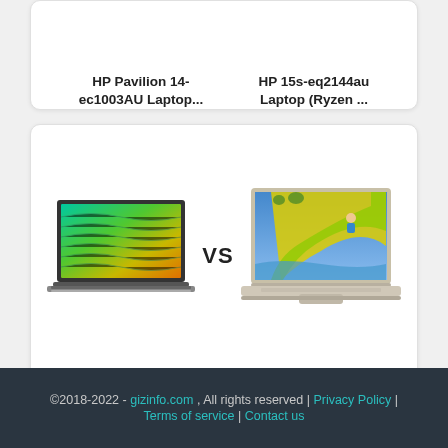HP Pavilion 14-ec1003AU Laptop...
HP 15s-eq2144au Laptop (Ryzen ...
[Figure (illustration): Comparison card showing Realme Book Slim Laptop (11th ...) vs HP Pavilion 14-ec1003AU Laptop... with VS text in center]
Realme Book Slim Laptop (11th ...
HP Pavilion 14-ec1003AU Laptop...
©2018-2022 - gizinfo.com , All rights reserved | Privacy Policy | Terms of service | Contact us